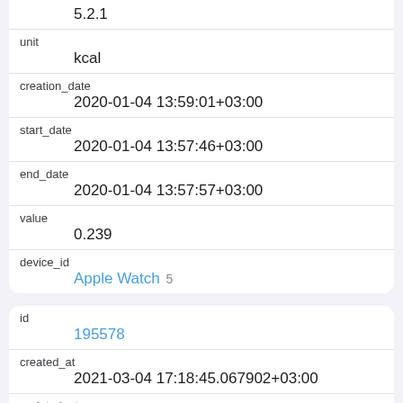5.2.1
unit: kcal
creation_date: 2020-01-04 13:59:01+03:00
start_date: 2020-01-04 13:57:46+03:00
end_date: 2020-01-04 13:57:57+03:00
value: 0.239
device_id: Apple Watch 5
id: 195578
created_at: 2021-03-04 17:18:45.067902+03:00
updated_at: 2021-03-04 17:18:45.067902+03:00